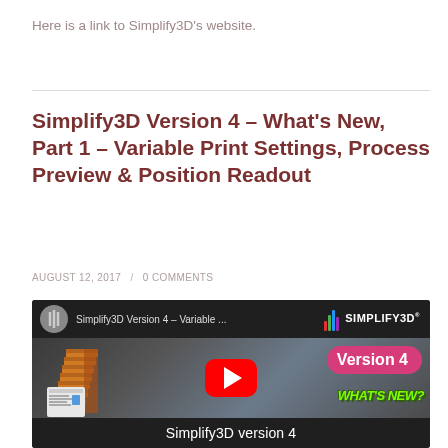Here is a link to Simplify3D's website.
Simplify3D Version 4 – What's New, Part 1 – Variable Print Settings, Process Preview & Position Readout
AUGUST 12, 2017 / 0 COMMENTS
[Figure (screenshot): YouTube video thumbnail for Simplify3D Version 4 – Variable Print Settings. Shows a 3D printed structure in orange/gold, the Simplify3D logo, a pink Version 4 badge, green WHAT'S NEW? text, a red YouTube play button, and 'Simplify3D version 4' text at the bottom on a dark background.]